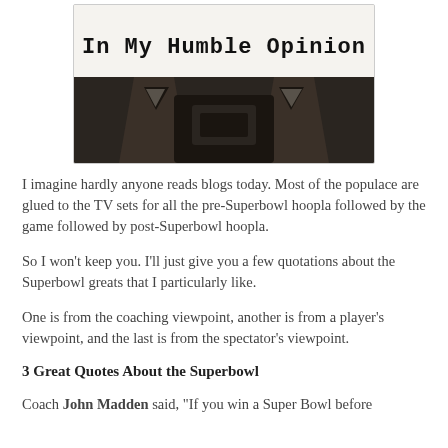[Figure (photo): Typewriter keys with text 'In My Humble Opinion' on paper above the keys, sepia/black and white tones.]
I imagine hardly anyone reads blogs today. Most of the populace are glued to the TV sets for all the pre-Superbowl hoopla followed by the game followed by post-Superbowl hoopla.
So I won't keep you. I'll just give you a few quotations about the Superbowl greats that I particularly like.
One is from the coaching viewpoint, another is from a player's viewpoint, and the last is from the spectator's viewpoint.
3 Great Quotes About the Superbowl
Coach John Madden said, "If you win a Super Bowl before